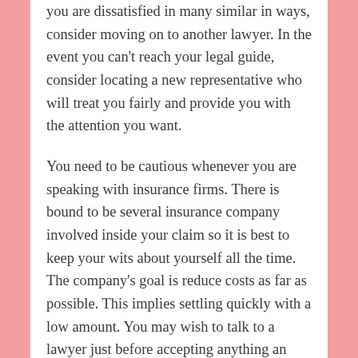you are dissatisfied in many similar in ways, consider moving on to another lawyer. In the event you can't reach your legal guide, consider locating a new representative who will treat you fairly and provide you with the attention you want.
You need to be cautious whenever you are speaking with insurance firms. There is bound to be several insurance company involved inside your claim so it is best to keep your wits about yourself all the time. The company's goal is reduce costs as far as possible. This implies settling quickly with a low amount. You may wish to talk to a lawyer just before accepting anything an insurance firm wants to give you.
It might not be needed to make contact with an attorney just because you really